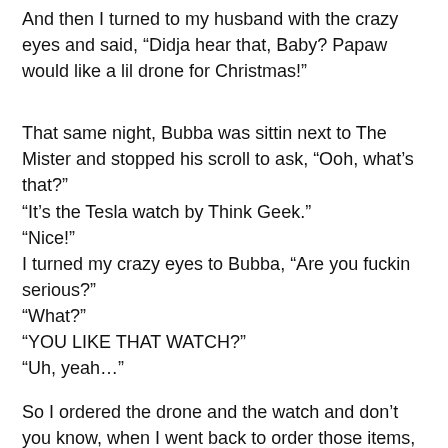Somethin to help me get the feel of it.
And then I turned to my husband with the crazy eyes and said, “Didja hear that, Baby? Papaw would like a lil drone for Christmas!”
That same night, Bubba was sittin next to The Mister and stopped his scroll to ask, “Ooh, what’s that?”
“It’s the Tesla watch by Think Geek.”
“Nice!”
I turned my crazy eyes to Bubba, “Are you fuckin serious?”
“What?”
“YOU LIKE THAT WATCH?”
“Uh, yeah…”
So I ordered the drone and the watch and don’t you know, when I went back to order those items, neither were on